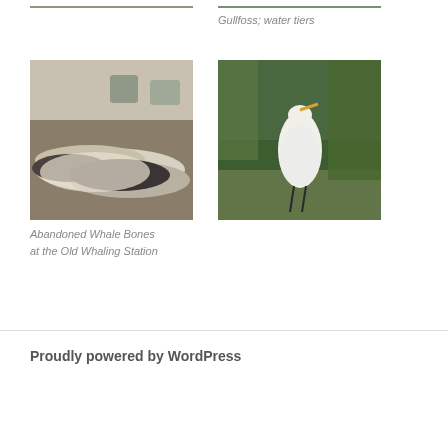[Figure (photo): Partial photo top-left (cropped at top of page)]
[Figure (photo): Partial photo top-right (cropped at top of page)]
Gullfoss; water tiers
[Figure (photo): Abandoned whale bones at old whaling station]
[Figure (photo): Great egret standing in water near green reeds]
Abandoned Whale Bones at the Old Whaling Station
Proudly powered by WordPress